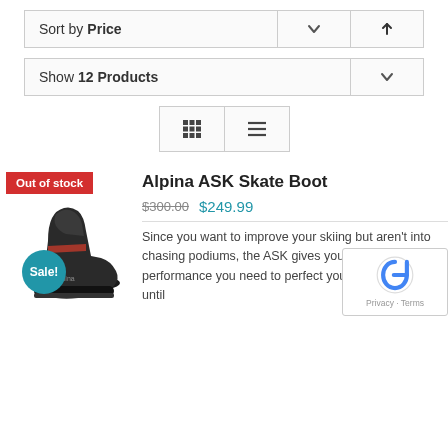Sort by Price
Show 12 Products
[Figure (screenshot): View toggle buttons: grid view and list view icons]
[Figure (photo): Alpina ASK Skate Boot product image with Out of stock badge and Sale! badge]
Alpina ASK Skate Boot
$300.00  $249.99
Since you want to improve your skiing but aren't into chasing podiums, the ASK gives you the stability and performance you need to perfect your form little by little until